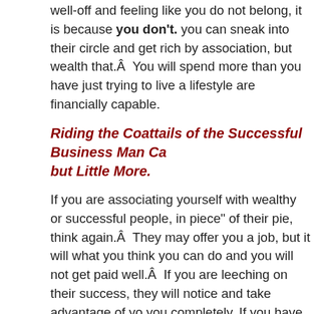well-off and feeling like you do not belong, it is because you don't. you can sneak into their circle and get rich by association, but wealth that.Â  You will spend more than you have just trying to live a lifestyle are financially capable.
Riding the Coattails of the Successful Business Man Ca but Little More.
If you are associating yourself with wealthy or successful people, in piece" of their pie, think again.Â  They may offer you a job, but it will what you think you can do and you will not get paid well.Â  If you are leeching on their success, they will notice and take advantage of you you completely. If you have read Rich Dad, Poor Dad (my review: ho what I mean.
*Learning*
They may mentor you, which can be priceless.Â  If you associate yo successful people, and are looking to learn from them and not expe in return, they may well give you the knowledge to become success